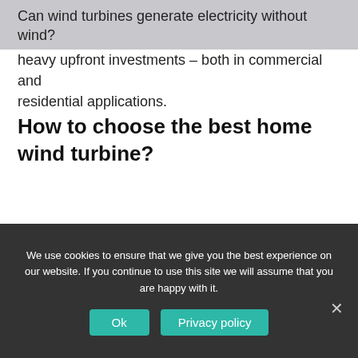Can wind turbines generate electricity without wind?
heavy upfront investments – both in commercial and residential applications.
How to choose the best home wind turbine?
With/Without Solar Panels. As you can see from the products above,some come with solar panels and some don't.
Location. It's incredibly important to first consider
We use cookies to ensure that we give you the best experience on our website. If you continue to use this site we will assume that you are happy with it.